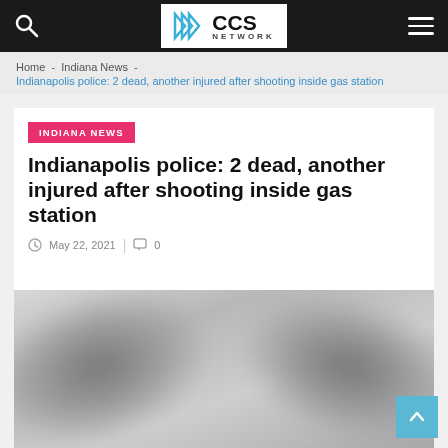CCS NETWORK
Home - Indiana News - Indianapolis police: 2 dead, another injured after shooting inside gas station
INDIANA NEWS
Indianapolis police: 2 dead, another injured after shooting inside gas station
May 22, 2021  |  0
[Figure (photo): Blurred/redacted image below the article headline]